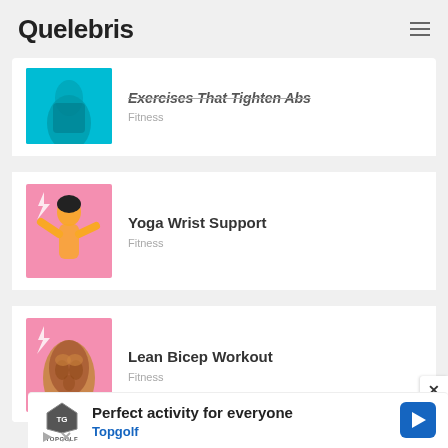Quelebris
Exercises That Tighten Abs
Fitness
Yoga Wrist Support
Fitness
Lean Bicep Workout
Fitness
[Figure (infographic): Advertisement banner for Topgolf with logo, text 'Perfect activity for everyone', 'Topgolf', and a navigation icon]